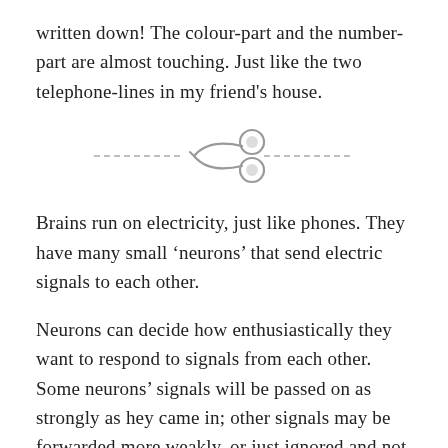written down! The colour-part and the number-part are almost touching. Just like the two telephone-lines in my friend's house.
[Figure (illustration): Scissors icon with dashed cut line on either side, centered on the page as a section divider.]
Brains run on electricity, just like phones. They have many small ‘neurons’ that send electric signals to each other.
Neurons can decide how enthusiastically they want to respond to signals from each other. Some neurons’ signals will be passed on as strongly as hey came in; other signals may be forwarded more weakly, or just ignored and not send on at all.
Somewhere out of this intricate web of Chinese Whispers, there arises thinking, and learning, and everything else a brain